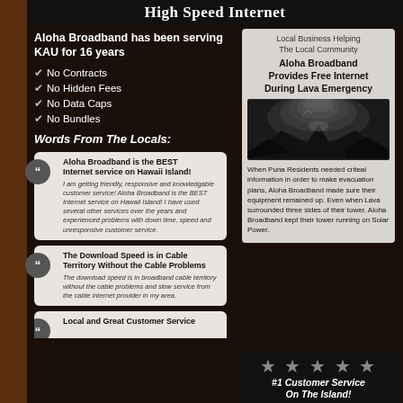High Speed Internet
Aloha Broadband has been serving KAU for 16 years
No Contracts
No Hidden Fees
No Data Caps
No Bundles
Words From The Locals:
Aloha Broadband is the BEST Internet service on Hawaii Island! I am getting friendly, responsive and knowledgable customer service! Aloha Broadband is the BEST Internet service on Hawaii Island! I have used several other services over the years and experienced problems with down time, speed and unresponsive customer service.
The Download Speed is in Cable Territory Without the Cable Problems. The download speed is in broadband cable territory without the cable problems and slow service from the cable internet provider in my area.
Local and Great Customer Service
Local Business Helping The Local Community
Aloha Broadband Provides Free Internet During Lava Emergency
[Figure (photo): Black and white photo of lava eruption with steam/smoke rising]
When Puna Residents needed criteal information in order to make evacuation plans, Aloha Broadband made sure their equipment remained up. Even when Lava surrounded three sides of their tower, Aloha Broadband kept their tower running on Solar Power.
#1 Customer Service On The Island!